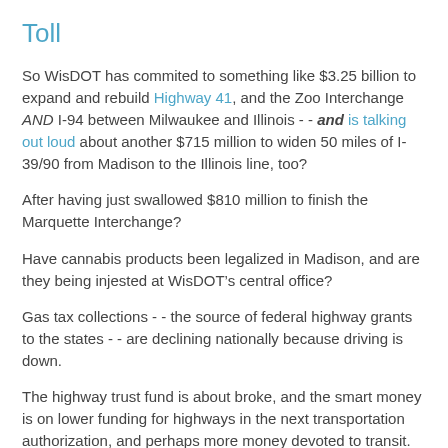Toll
So WisDOT has commited to something like $3.25 billion to expand and rebuild Highway 41, and the Zoo Interchange AND I-94 between Milwaukee and Illinois - - and is talking out loud about another $715 million to widen 50 miles of I-39/90 from Madison to the Illinois line, too?
After having just swallowed $810 million to finish the Marquette Interchange?
Have cannabis products been legalized in Madison, and are they being injested at WisDOT’s central office?
Gas tax collections - - the source of federal highway grants to the states - - are declining nationally because driving is down.
The highway trust fund is about broke, and the smart money is on lower funding for highways in the next transportation authorization, and perhaps more money devoted to transit.